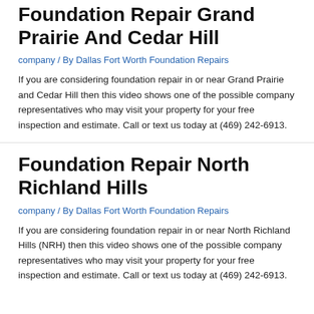Foundation Repair Grand Prairie And Cedar Hill
company / By Dallas Fort Worth Foundation Repairs
If you are considering foundation repair in or near Grand Prairie and Cedar Hill then this video shows one of the possible company representatives who may visit your property for your free inspection and estimate. Call or text us today at (469) 242-6913.
Foundation Repair North Richland Hills
company / By Dallas Fort Worth Foundation Repairs
If you are considering foundation repair in or near North Richland Hills (NRH) then this video shows one of the possible company representatives who may visit your property for your free inspection and estimate. Call or text us today at (469) 242-6913.